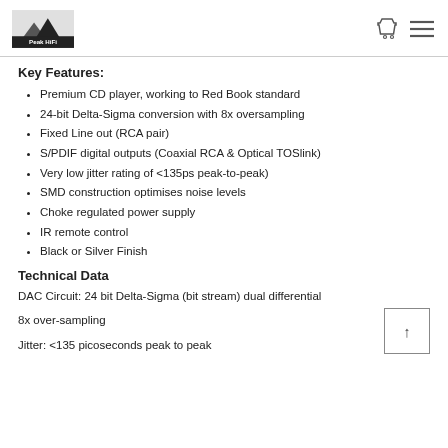Peak HiFi
Key Features:
Premium CD player, working to Red Book standard
24-bit Delta-Sigma conversion with 8x oversampling
Fixed Line out (RCA pair)
S/PDIF digital outputs (Coaxial RCA & Optical TOSlink)
Very low jitter rating of <135ps peak-to-peak)
SMD construction optimises noise levels
Choke regulated power supply
IR remote control
Black or Silver Finish
Technical Data
DAC Circuit: 24 bit Delta-Sigma (bit stream) dual differential
8x over-sampling
Jitter: <135 picoseconds peak to peak